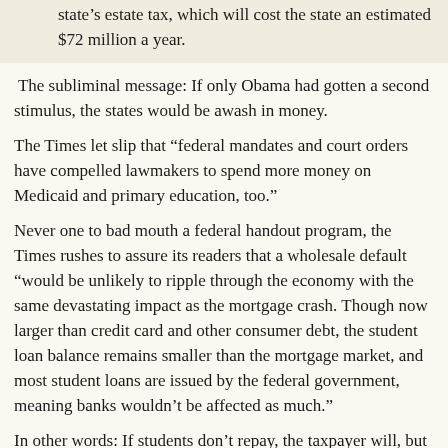state’s estate tax, which will cost the state an estimated $72 million a year.
The subliminal message: If only Obama had gotten a second stimulus, the states would be awash in money.
The Times let slip that “federal mandates and court orders have compelled lawmakers to spend more money on Medicaid and primary education, too.”
Never one to bad mouth a federal handout program, the Times rushes to assure its readers that a wholesale default “would be unlikely to ripple through the economy with the same devastating impact as the mortgage crash. Though now larger than credit card and other consumer debt, the student loan balance remains smaller than the mortgage market, and most student loans are issued by the federal government, meaning banks wouldn’t be affected as much.”
In other words: If students don’t repay, the taxpayer will, but who worries about the taxpayer?